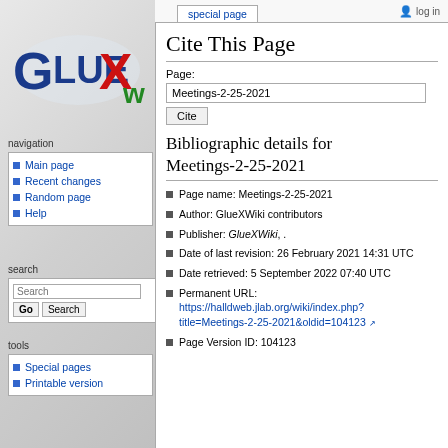log in
[Figure (logo): GlueX logo with stylized G, GLUE text in blue, X in red/white, and W in green]
navigation
Main page
Recent changes
Random page
Help
search
tools
Special pages
Printable version
Cite This Page
Page:
Meetings-2-25-2021
Bibliographic details for Meetings-2-25-2021
Page name: Meetings-2-25-2021
Author: GlueXWiki contributors
Publisher: GlueXWiki, .
Date of last revision: 26 February 2021 14:31 UTC
Date retrieved: 5 September 2022 07:40 UTC
Permanent URL: https://halldweb.jlab.org/wiki/index.php?title=Meetings-2-25-2021&oldid=104123
Page Version ID: 104123